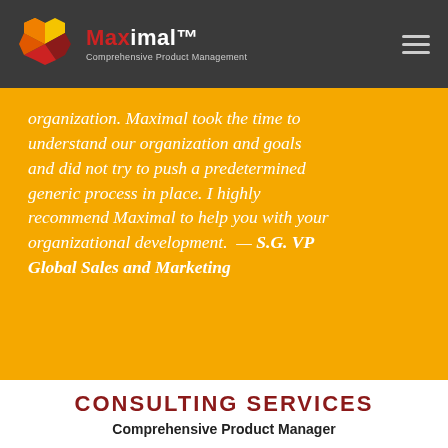Maximal™ Comprehensive Product Management
organization. Maximal took the time to understand our organization and goals and did not try to push a predetermined generic process in place. I highly recommend Maximal to help you with your organizational development. — S.G. VP Global Sales and Marketing
CONSULTING SERVICES
Comprehensive Product Manager